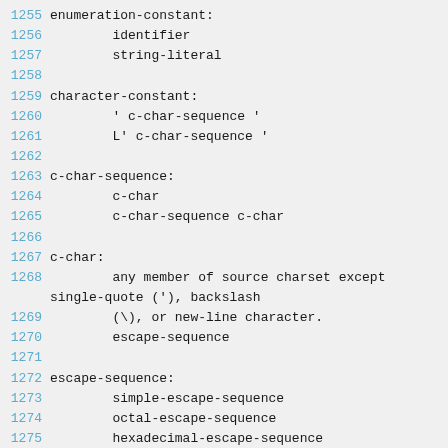1255 enumeration-constant:
1256         identifier
1257         string-literal
1258
1259 character-constant:
1260         ' c-char-sequence '
1261         L' c-char-sequence '
1262
1263 c-char-sequence:
1264         c-char
1265         c-char-sequence c-char
1266
1267 c-char:
1268         any member of source charset except single-quote ('), backslash
1269         (\), or new-line character.
1270         escape-sequence
1271
1272 escape-sequence:
1273         simple-escape-sequence
1274         octal-escape-sequence
1275         hexadecimal-escape-sequence
1276         universal-character-name
1277
1278 simple-escape-sequence: ...